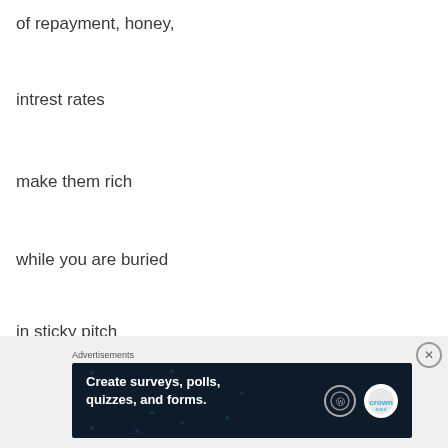of repayment, honey,
intrest rates
make them rich
while you are buried
in sticky pitch
they keep you poor
[Figure (screenshot): Advertisement banner: 'Create surveys, polls, quizzes, and forms.' on dark navy background with WordPress and Crown logos]